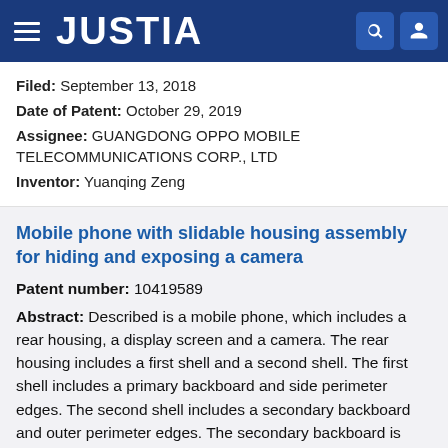JUSTIA
Filed: September 13, 2018
Date of Patent: October 29, 2019
Assignee: GUANGDONG OPPO MOBILE TELECOMMUNICATIONS CORP., LTD
Inventor: Yuanqing Zeng
Mobile phone with slidable housing assembly for hiding and exposing a camera
Patent number: 10419589
Abstract: Described is a mobile phone, which includes a rear housing, a display screen and a camera. The rear housing includes a first shell and a second shell. The first shell includes a primary backboard and side perimeter edges. The second shell includes a secondary backboard and outer perimeter edges. The secondary backboard is slidably connected with the primary backboard, and the secondary backboard is provided with a first position